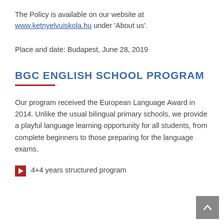The Policy is available on our website at www.ketnyelvuiskola.hu under 'About us'.
Place and date: Budapest, June 28, 2019
BGC ENGLISH SCHOOL PROGRAM
Our program received the European Language Award in 2014. Unlike the usual bilingual primary schools, we provide a playful language learning opportunity for all students, from complete beginners to those preparing for the language exams.
4+4 years structured program